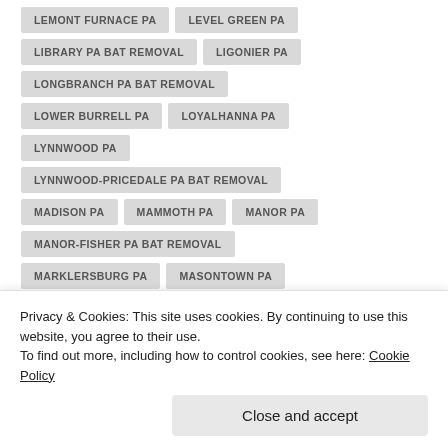LEMONT FURNACE PA
LEVEL GREEN PA
LIBRARY PA BAT REMOVAL
LIGONIER PA
LONGBRANCH PA BAT REMOVAL
LOWER BURRELL PA
LOYALHANNA PA
LYNNWOOD PA
LYNNWOOD-PRICEDALE PA BAT REMOVAL
MADISON PA
MAMMOTH PA
MANOR PA
MANOR-FISHER PA BAT REMOVAL
MARKLERSBURG PA
MASONTOWN PA
MCCHESNEYTOWN PA
MCCURRY PA BAT REMOVAL
Privacy & Cookies: This site uses cookies. By continuing to use this website, you agree to their use.
To find out more, including how to control cookies, see here: Cookie Policy
Close and accept